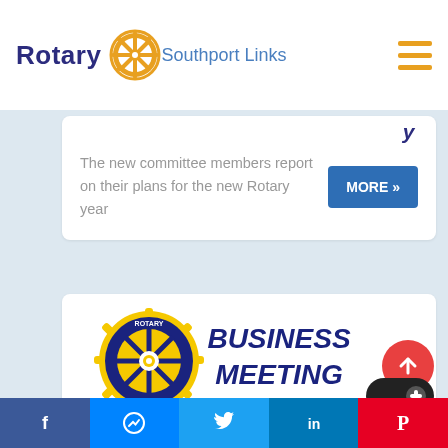Rotary — Southport Links
The new committee members report on their plans for the new Rotary year
[Figure (screenshot): Rotary International Business Meeting graphic with Rotary wheel logo and text 'BUSINESS MEETING']
Business Meeting
Social share bar: Facebook, Messenger, Twitter, LinkedIn, Pinterest